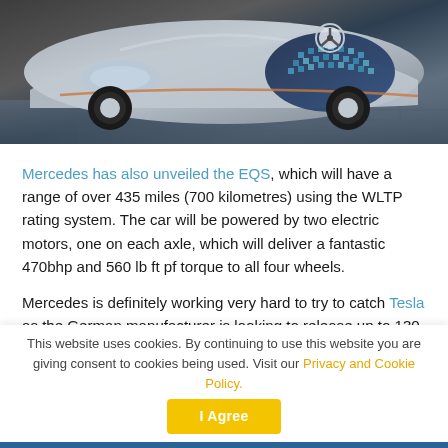[Figure (photo): Front view of a Mercedes-Benz EQS concept car, silver/grey metallic body with blue accents and illuminated three-pointed star logo, parked on a patterned surface]
Mercedes has also unveiled the EQS, which will have a range of over 435 miles (700 kilometres) using the WLTP rating system. The car will be powered by two electric motors, one on each axle, which will deliver a fantastic 470bhp and 560 lb ft pf torque to all four wheels.
Mercedes is definitely working very hard to try to catch Tesla as the German manufacturer is looking to release up to 130 electric variants in a programme that is expected to cost more than £9 billion in an attempt to secure a foothold
This website uses cookies. By continuing to use this website you are giving consent to cookies being used. Visit our Privacy and Cookie Policy.